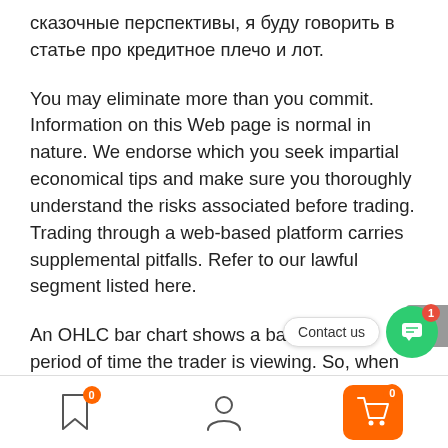сказочные перспективы, я буду говорить в статье про кредитное плечо и лот.
You may eliminate more than you commit. Information on this Web page is normal in nature. We endorse which you seek impartial economical tips and make sure you thoroughly understand the risks associated before trading. Trading through a web-based platform carries supplemental pitfalls. Refer to our lawful segment listed here.
An OHLC bar chart shows a bar for each period of time the trader is viewing. So, when t chart, Every vertical bar signifies in the future's well
[Figure (screenshot): Mobile app bottom navigation bar with bookmark icon (badge 0), user profile icon, and shopping cart button (badge 0, orange background). A green chat bubble overlay with 'Contact us' label and red badge showing 1. A grey scroll-to-top arrow button on the right side.]